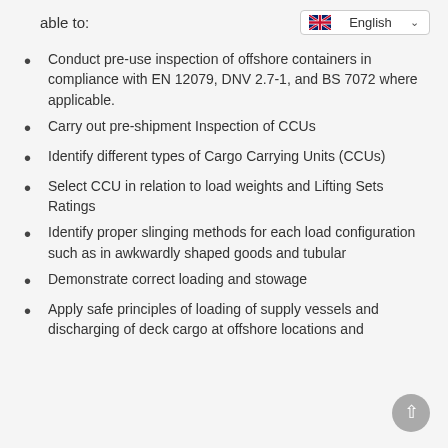able to:
Conduct pre-use inspection of offshore containers in compliance with EN 12079, DNV 2.7-1, and BS 7072 where applicable.
Carry out pre-shipment Inspection of CCUs
Identify different types of Cargo Carrying Units (CCUs)
Select CCU in relation to load weights and Lifting Sets Ratings
Identify proper slinging methods for each load configuration such as in awkwardly shaped goods and tubular
Demonstrate correct loading and stowage
Apply safe principles of loading of supply vessels and discharging of deck cargo at offshore locations and